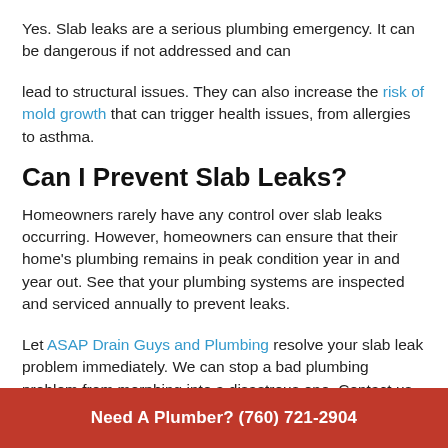Yes. Slab leaks are a serious plumbing emergency. It can be dangerous if not addressed and can
lead to structural issues. They can also increase the risk of mold growth that can trigger health issues, from allergies to asthma.
Can I Prevent Slab Leaks?
Homeowners rarely have any control over slab leaks occurring. However, homeowners can ensure that their home's plumbing remains in peak condition year in and year out. See that your plumbing systems are inspected and serviced annually to prevent leaks.
Let ASAP Drain Guys and Plumbing resolve your slab leak problem immediately. We can stop a bad plumbing problem from morphing into a disastrous one. Contact us
Need A Plumber? (760) 721-2904